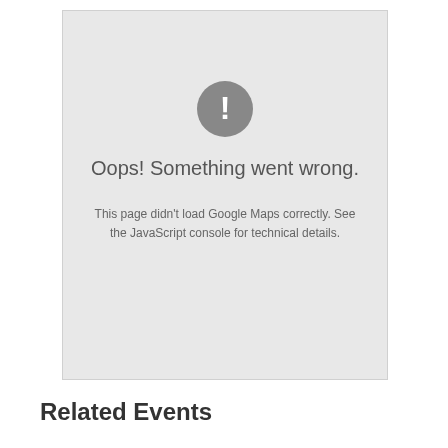[Figure (other): Google Maps error box with exclamation mark icon, error title 'Oops! Something went wrong.' and body text about JavaScript console]
Oops! Something went wrong.
This page didn't load Google Maps correctly. See the JavaScript console for technical details.
Related Events